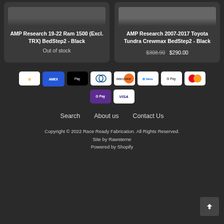[Figure (photo): Product card: AMP Research 19-22 Ram 1500 (Excl. TRX) BedStep2 - Black, Out of stock]
AMP Research 19-22 Ram 1500 (Excl. TRX) BedStep2 - Black
Out of stock
[Figure (photo): Product card: AMP Research 2007-2017 Toyota Tundra Crewmax BedStep2 - Black, $308.90 $290.00]
AMP Research 2007-2017 Toyota Tundra Crewmax BedStep2 - Black
$308.90 $290.00
[Figure (infographic): Payment method logos: Amazon, Amex, Apple Pay, Diners Club, Discover, Meta, Google Pay, Mastercard, OPay, Visa]
Search   About us   Contact Us
Copyright © 2022 Race Ready Fabrication. All Rights Reserved. Site by Rawsterne Powered by Shopify